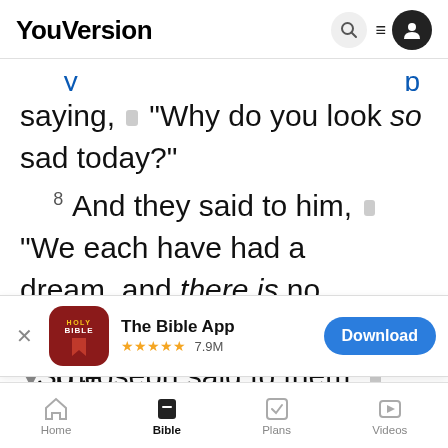YouVersion
saying, “Why do you look so sad today?”
8 And they said to him, “We each have had a dream, and there is no interpreter of it.” So Joseph said to them, “Do not
[Figure (screenshot): The Bible App download banner with app icon (Holy Bible), 5-star rating, 7.9M reviews, and a Download button]
YouVersion uses cookies to personalize your experience. By using our website, you accept our use of cookies as described in our Privacy Policy.
Home | Bible | Plans | Videos